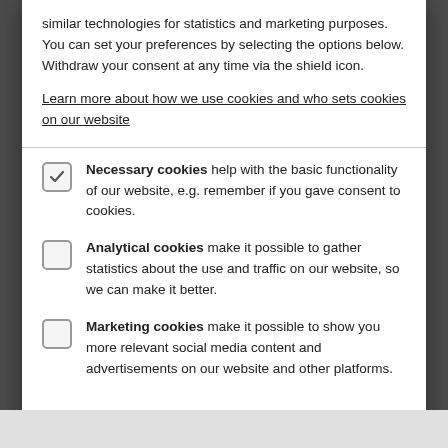similar technologies for statistics and marketing purposes. You can set your preferences by selecting the options below. Withdraw your consent at any time via the shield icon.
Learn more about how we use cookies and who sets cookies on our website
Necessary cookies help with the basic functionality of our website, e.g. remember if you gave consent to cookies.
Analytical cookies make it possible to gather statistics about the use and traffic on our website, so we can make it better.
Marketing cookies make it possible to show you more relevant social media content and advertisements on our website and other platforms.
Accept necessary | Accept all